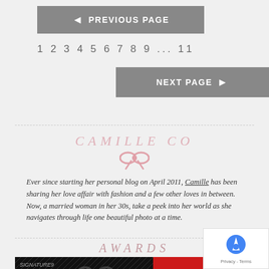◄ PREVIOUS PAGE
1  2  3  4  5  6  7  8  9  ...  11
NEXT PAGE ►
CAMILLE CO
[Figure (illustration): Pink bow ribbon icon]
Ever since starting her personal blog on April 2011, Camille has been sharing her love affair with fashion and a few other loves in between. Now, a married woman in her 30s, take a peek into her world as she navigates through life one beautiful photo at a time.
AWARDS
[Figure (photo): Awards section showing Signature9 Style 99 Most Influential badge and Lucky magazine 13 Favorites badge]